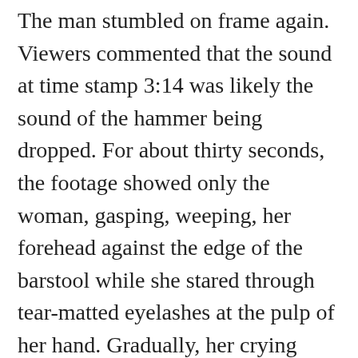The man stumbled on frame again. Viewers commented that the sound at time stamp 3:14 was likely the sound of the hammer being dropped. For about thirty seconds, the footage showed only the woman, gasping, weeping, her forehead against the edge of the barstool while she stared through tear-matted eyelashes at the pulp of her hand. Gradually, her crying calmed. The camera shook as it was removed from its tripod and the cameraman's arc swung wide to reveal bits and pieces of an apartment, lighting equipment—no substantial wires or special effects equipment immediately visible. Only the woman, who, still collapsed against the stool, lifted her head at the camera's approach and managed a shaky inhalation.
“This is real,” she wetly emphasized, reaching off-camera for someone and she reached to blot blood from